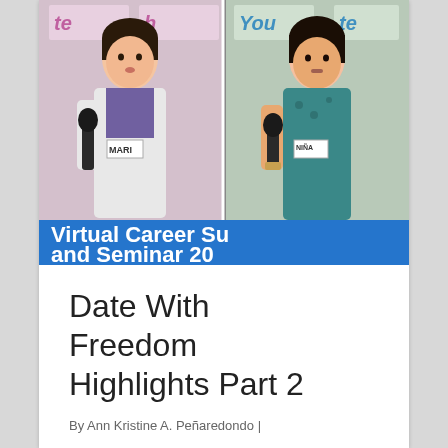[Figure (photo): Two women speaking into microphones at what appears to be a career seminar or summit event. Left woman wears white jacket over purple top with name tag reading MARI. Right woman wears teal/blue patterned top with name tag reading NIÑA. Background shows event banners with partial text 'te...h' and 'You...']
Virtual Career Su and Seminar 20
Date With Freedom Highlights Part 2
By Ann Kristine A. Peñaredondo |